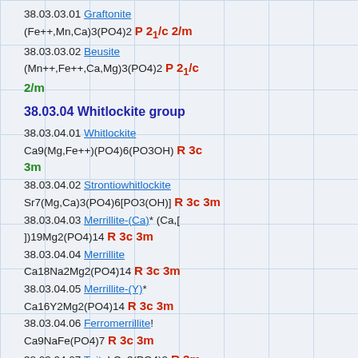38.03.03.01 Graftonite (Fe++,Mn,Ca)3(PO4)2 P 2_1/c 2/m
38.03.03.02 Beusite (Mn++,Fe++,Ca,Mg)3(PO4)2 P 2_1/c 2/m
38.03.04 Whitlockite group
38.03.04.01 Whitlockite Ca9(Mg,Fe++)(PO4)6(PO3OH) R 3c 3m
38.03.04.02 Strontiowhitlockite Sr7(Mg,Ca)3(PO4)6[PO3(OH)] R 3c 3m
38.03.04.03 Merrillite-(Ca)* (Ca,[])19Mg2(PO4)14 R 3c 3m
38.03.04.04 Merrillite Ca18Na2Mg2(PO4)14 R 3c 3m
38.03.04.05 Merrillite-(Y)* Ca16Y2Mg2(PO4)14 R 3c 3m
38.03.04.06 Ferromerrillite! Ca9NaFe(PO4)7 R 3c 3m
38.03.04.07 Tuite! Ca3(PO4)2 R -3m 3m